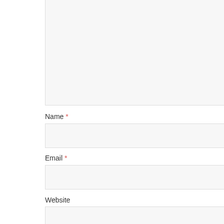(Comment textarea - top portion visible)
Name *
Email *
Website
Save my name, email, and website in this browser for the next time I comment.
Post Comment
This site uses Akismet to reduce spam. Learn how your comment data is processed.